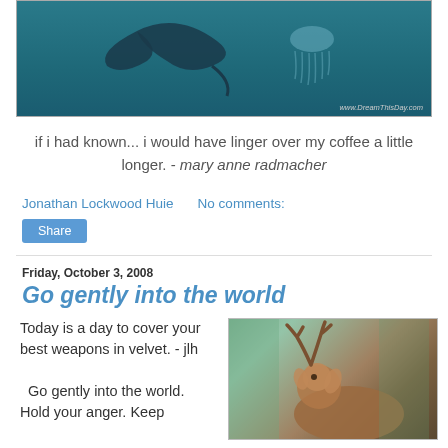[Figure (photo): Underwater photo with manta ray and jellyfish against teal background, watermark www.DreamThisDay.com]
if i had known... i would have linger over my coffee a little longer. - mary anne radmacher
Jonathan Lockwood Huie   No comments:
Share
Friday, October 3, 2008
Go gently into the world
Today is a day to cover your best weapons in velvet. - jlh

  Go gently into the world. Hold your anger. Keep
[Figure (photo): Close-up photo of a deer with antlers against blurred green background]